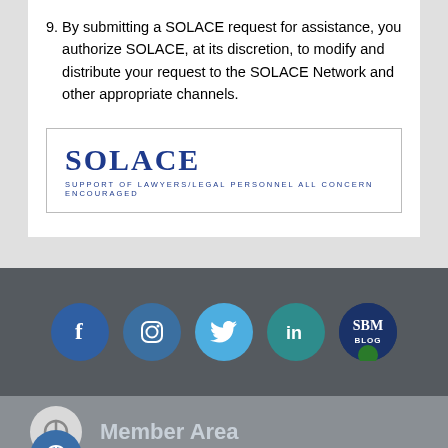9. By submitting a SOLACE request for assistance, you authorize SOLACE, at its discretion, to modify and distribute your request to the SOLACE Network and other appropriate channels.
[Figure (logo): SOLACE logo with text 'SOLACE' in large bold navy blue letters and tagline 'SUPPORT OF LAWYERS/LEGAL PERSONNEL ALL CONCERN ENCOURAGED' below in smaller spaced letters, inside a bordered box.]
[Figure (infographic): Social media icons row on dark gray background: Facebook (dark blue circle with f), Instagram (medium blue circle with camera icon), Twitter (light blue circle with bird), LinkedIn (teal circle with 'in'), SBM Blog (dark navy circle with green accent and 'SBM BLOG' text).]
Member Area